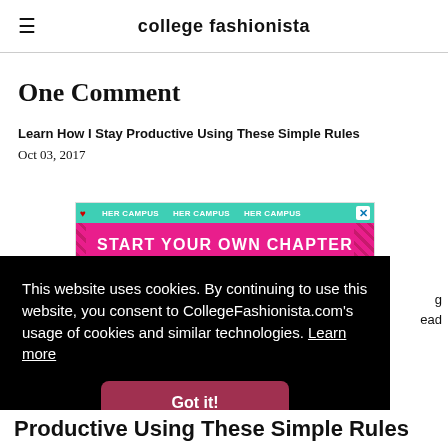college fashionista
One Comment
Learn How I Stay Productive Using These Simple Rules
Oct 03, 2017
[Figure (other): HER CAMPUS advertisement banner with teal top bar repeating 'HER CAMPUS' and pink bottom bar with text 'START YOUR OWN CHAPTER']
This website uses cookies. By continuing to use this website, you consent to CollegeFashionista.com's usage of cookies and similar technologies. Learn more
Got it!
Productive Using These Simple Rules